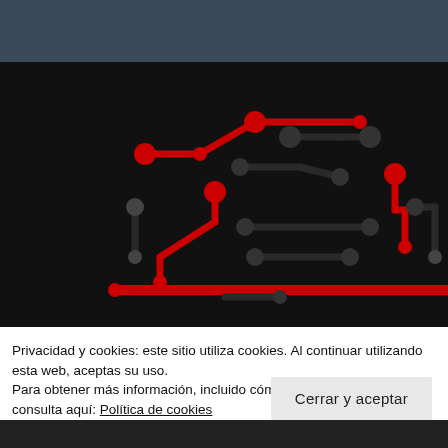[Figure (screenshot): Dark blue-grey header bar at top of webpage]
[Figure (circuit-diagram): Circuit board diagram on black background with red and dark grey circuit traces and nodes]
Privacidad y cookies: este sitio utiliza cookies. Al continuar utilizando esta web, aceptas su uso.
Para obtener más información, incluido cómo controlar las cookies, consulta aquí: Política de cookies
Cerrar y aceptar